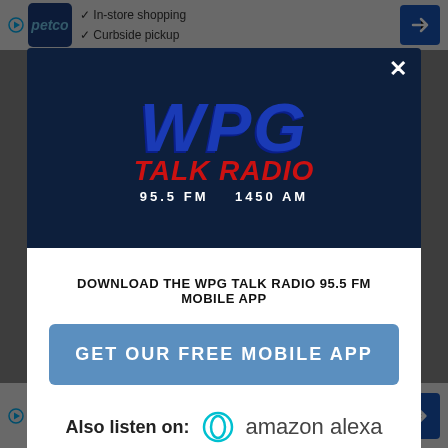[Figure (screenshot): Petco advertisement banner at top: In-store shopping, Curbside pickup]
[Figure (logo): WPG Talk Radio 95.5 FM 1450 AM logo modal popup with dark navy background]
DOWNLOAD THE WPG TALK RADIO 95.5 FM MOBILE APP
GET OUR FREE MOBILE APP
Also listen on: amazon alexa
[Figure (screenshot): Petco advertisement banner at bottom: In-store shopping, Curbside pickup]